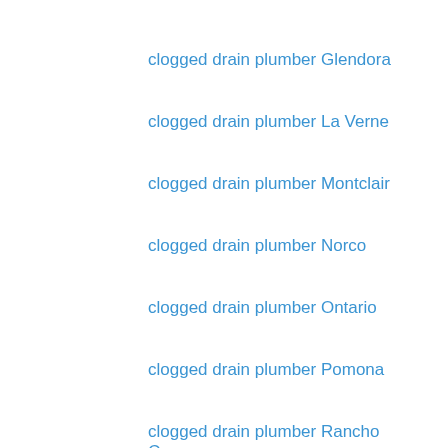clogged drain plumber Glendora
clogged drain plumber La Verne
clogged drain plumber Montclair
clogged drain plumber Norco
clogged drain plumber Ontario
clogged drain plumber Pomona
clogged drain plumber Rancho Cucamonga
clogged drain plumber Rowland Heights
clogged drain plumber San Dimas
clogged drain plumber Upland